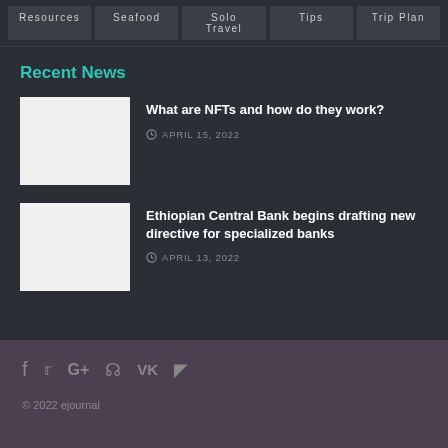Resources | Seafood | Solo Travel | Tips | Trip Plan
Recent News
What are NFTs and how do they work?
APRIL 15, 2022
Ethiopian Central Bank begins drafting new directive for specialized banks
APRIL 13, 2022
© 2022 ejournal